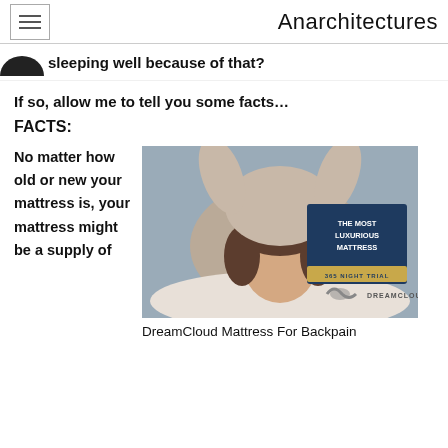Anarchitectures
sleeping well because of that?
If so, allow me to tell you some facts…
FACTS:
No matter how old or new your mattress is, your mattress might be a supply of
[Figure (photo): Woman lying upside down on a mattress smiling, with DreamCloud branding overlay showing 'THE MOST LUXURIOUS MATTRESS' and '365 NIGHT TRIAL']
DreamCloud Mattress For Backpain